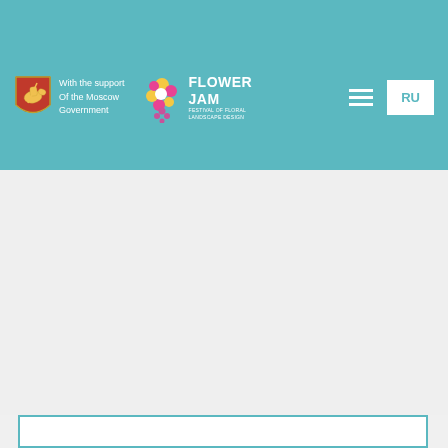a natural process within which the visitor finds himself.
[Figure (logo): Navigation bar with Moscow Government logo, Flower Jam festival logo, hamburger menu icon, and RU language button on teal background]
[Figure (infographic): Row of 5 pagination indicator squares, first one active (solid teal), rest semi-transparent teal]
[Figure (other): Grey empty content area below pagination]
[Figure (other): White card with teal border outline at bottom of page]